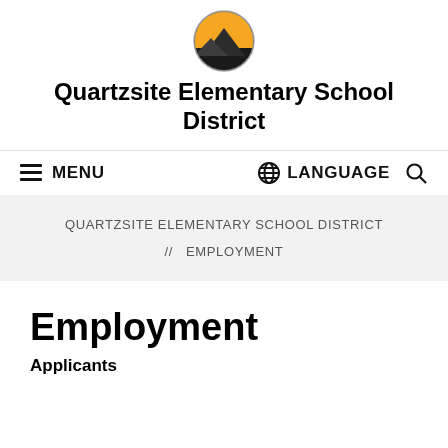[Figure (logo): Quartzsite Elementary School District circular logo with mountain and orange/yellow sky design]
Quartzsite Elementary School District
MENU   LANGUAGE
QUARTZSITE ELEMENTARY SCHOOL DISTRICT
// EMPLOYMENT
Employment
Applicants